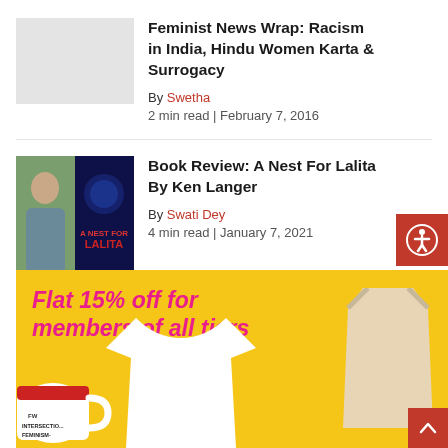[Figure (photo): Gray placeholder thumbnail for article 1]
Feminist News Wrap: Racism in India, Hindu Women Karta & Surrogacy
By Swetha
2 min read | February 7, 2016
[Figure (photo): Book cover photo: A Nest For Lalita by Ken Langer, showing author photo on left and book cover on right]
Book Review: A Nest For Lalita By Ken Langer
By Swati Dey
4 min read | January 7, 2021
[Figure (infographic): Yellow promotional banner: Flat 15% off for members of all tiers, showing merchandise including a mug, t-shirt, and tote bag with intersectional feminism branding]